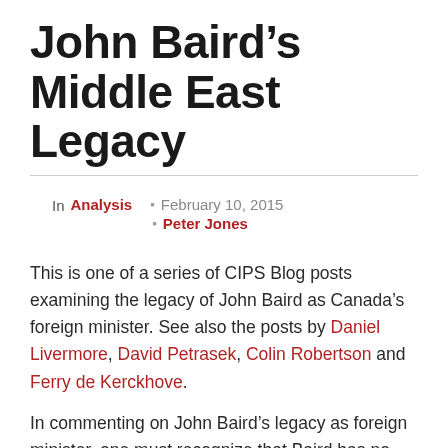John Baird’s Middle East Legacy
In Analysis • February 10, 2015 • Peter Jones
This is one of a series of CIPS Blog posts examining the legacy of John Baird as Canada’s foreign minister. See also the posts by Daniel Livermore, David Petrasek, Colin Robertson and Ferry de Kerckhove.
In commenting on John Baird’s legacy as foreign minister, one must recognize that Baird has no real legacy; like all ministers in this government, he is an implementer